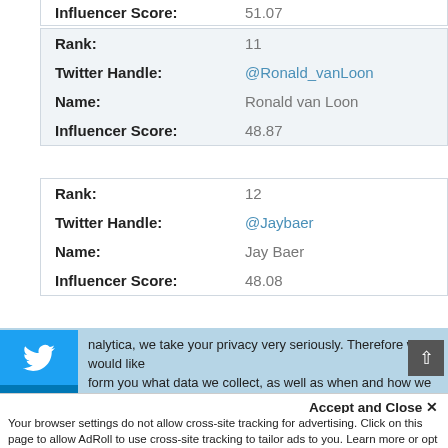| Influencer Score: | 51.07 |
| Rank: | 11 |
| Twitter Handle: | @Ronald_vanLoon |
| Name: | Ronald van Loon |
| Influencer Score: | 48.87 |
| Rank: | 12 |
| Twitter Handle: | @Jaybaer |
| Name: | Jay Baer |
| Influencer Score: | 48.08 |
nalytica, we take your privacy very seriously. Therefore we would like form you what data we collect, as well as when and how we deal with personal information. To learn more, read our Privacy and Cookie Policy. If you have any questions, don't hesitate to contact us
Accept and Close ×
Your browser settings do not allow cross-site tracking for advertising. Click on this page to allow AdRoll to use cross-site tracking to tailor ads to you. Learn more or opt out of this AdRoll tracking by clicking here. This message only appears once.